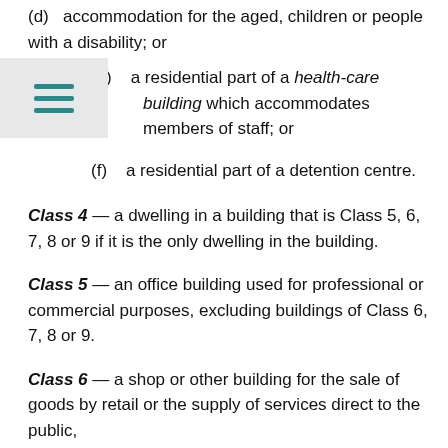(d)  accommodation for the aged, children or people with a disability; or
(e)  a residential part of a health-care building which accommodates members of staff; or
(f)  a residential part of a detention centre.
Class 4 — a dwelling in a building that is Class 5, 6, 7, 8 or 9 if it is the only dwelling in the building.
Class 5 — an office building used for professional or commercial purposes, excluding buildings of Class 6, 7, 8 or 9.
Class 6 — a shop or other building for the sale of goods by retail or the supply of services direct to the public,